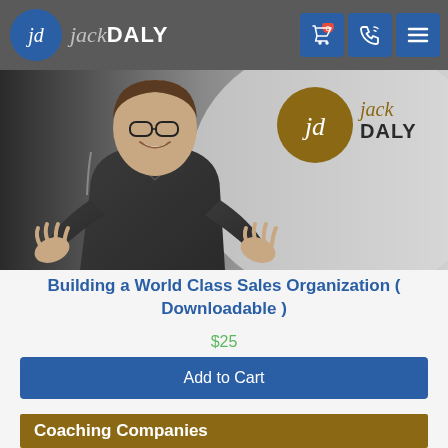jd jackDALY
[Figure (photo): Jack Daly promotional hero image with man in dark polo shirt gesturing with hands, and Jack Daly logo (brown circle with jd and jackDALY text) in the upper right]
Building a World Class Sales Organization ( Downloadable )
$25
Add to Cart
Coaching Companies